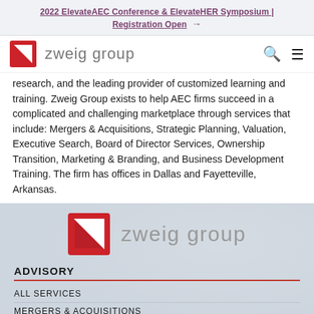2022 ElevateAEC Conference & ElevateHER Symposium | Registration Open →
[Figure (logo): Zweig Group logo with red square containing white triangle/arrow and text 'zweig group' in gray, with search and menu icons]
research, and the leading provider of customized learning and training. Zweig Group exists to help AEC firms succeed in a complicated and challenging marketplace through services that include: Mergers & Acquisitions, Strategic Planning, Valuation, Executive Search, Board of Director Services, Ownership Transition, Marketing & Branding, and Business Development Training. The firm has offices in Dallas and Fayetteville, Arkansas.
[Figure (logo): Large Zweig Group logo centered on blue-gray textured background with red square icon and 'zweig group' text in gray]
ADVISORY
ALL SERVICES
MERGERS & ACQUISITIONS
STRATEGIC PLANNING